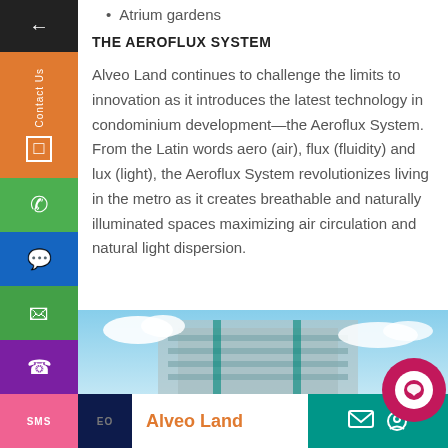Atrium gardens
THE AEROFLUX SYSTEM
Alveo Land continues to challenge the limits to innovation as it introduces the latest technology in condominium development—the Aeroflux System. From the Latin words aero (air), flux (fluidity) and lux (light), the Aeroflux System revolutionizes living in the metro as it creates breathable and naturally illuminated spaces maximizing air circulation and natural light dispersion.
[Figure (photo): Exterior photo of modern condominium building with blue sky and clouds]
Alveo Land